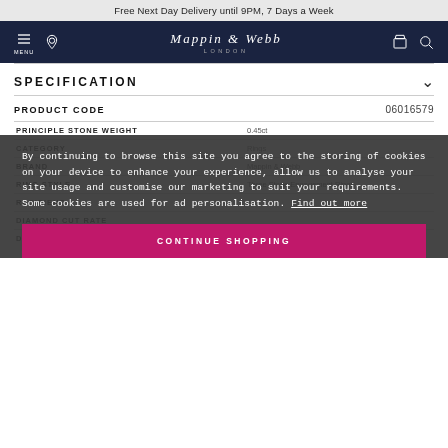Free Next Day Delivery until 9PM, 7 Days a Week
[Figure (logo): Mappin & Webb London logo with navigation icons (menu, location, bag, search) on dark navy background]
SPECIFICATION
| Field | Value |
| --- | --- |
| PRODUCT CODE | 06016579 |
| PRINCIPLE STONE WEIGHT | 0.45ct |
| CATEGORY | Rings |
| BRAND | Mappin & Webb |
| RING STYLE | Three Stone Engagement Rings |
| RECIPIENT |  |
| DIAMOND CUT RATE |  |
| DIAMOND COLOUR | G |
By continuing to browse this site you agree to the storing of cookies on your device to enhance your experience, allow us to analyse your site usage and customise our marketing to suit your requirements. Some cookies are used for ad personalisation. Find out more
CONTINUE SHOPPING